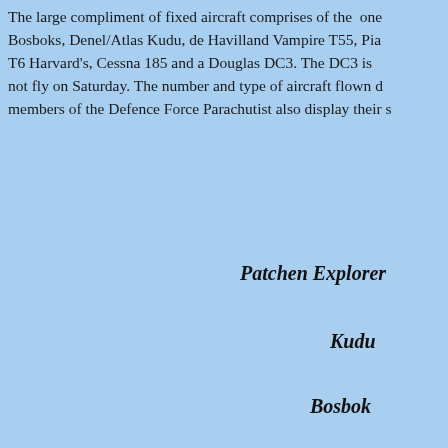The large compliment of fixed aircraft comprises of the one Bosboks, Denel/Atlas Kudu, de Havilland Vampire T55, Pia T6 Harvard's, Cessna 185 and a Douglas DC3. The DC3 is not fly on Saturday. The number and type of aircraft flown d members of the Defence Force Parachutist also display their s
Patchen Explorer
Kudu
Bosbok
Piaggio P.166 Alba
North American T6 H